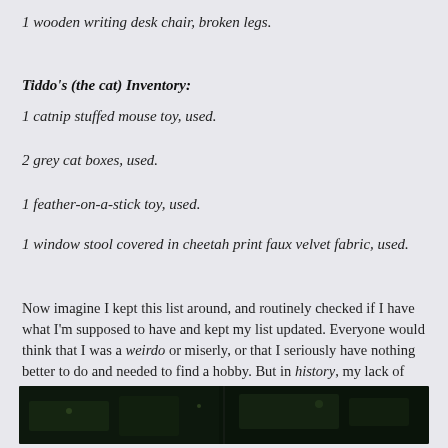1 wooden writing desk chair, broken legs.
Tiddo's (the cat) Inventory:
1 catnip stuffed mouse toy, used.
2 grey cat boxes, used.
1 feather-on-a-stick toy, used.
1 window stool covered in cheetah print faux velvet fabric, used.
Now imagine I kept this list around, and routinely checked if I have what I'm supposed to have and kept my list updated. Everyone would think that I was a weirdo or miserly, or that I seriously have nothing better to do and needed to find a hobby. But in history, my lack of record-keeping would be considered lazy and I, careless for not having higher regard for my things.
[Figure (photo): Dark nighttime outdoor photo, partially visible at bottom of page]